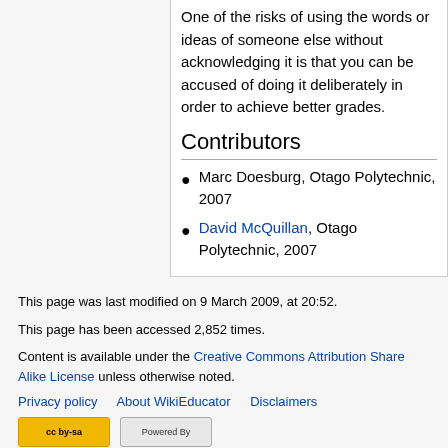One of the risks of using the words or ideas of someone else without acknowledging it is that you can be accused of doing it deliberately in order to achieve better grades.
Contributors
Marc Doesburg, Otago Polytechnic, 2007
David McQuillan, Otago Polytechnic, 2007
This page was last modified on 9 March 2009, at 20:52.
This page has been accessed 2,852 times.
Content is available under the Creative Commons Attribution Share Alike License unless otherwise noted.
Privacy policy   About WikiEducator   Disclaimers